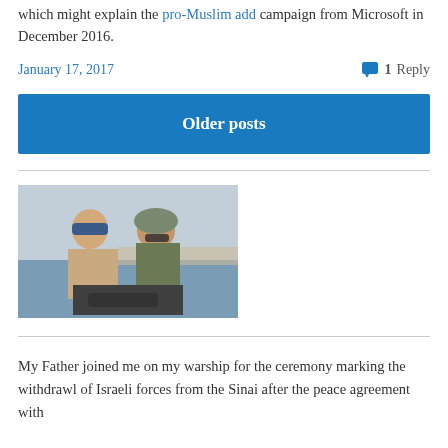which might explain the pro-Muslim add campaign from Microsoft in December 2016.
January 17, 2017    💬 1 Reply
Older posts
[Figure (photo): Two men on a warship, one wearing a blue cap and the other wearing a military helmet and sunglasses, with water and distant shoreline in background.]
My Father joined me on my warship for the ceremony marking the withdrawl of Israeli forces from the Sinai after the peace agreement with